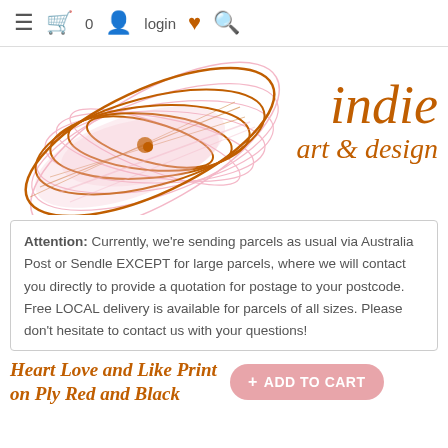≡  🛒 0  👤 login  ♥  🔍
[Figure (logo): Indie Art & Design logo with decorative pink and orange floral illustration on the left and italic text 'indie art & design' in orange on the right]
Attention: Currently, we're sending parcels as usual via Australia Post or Sendle EXCEPT for large parcels, where we will contact you directly to provide a quotation for postage to your postcode. Free LOCAL delivery is available for parcels of all sizes. Please don't hesitate to contact us with your questions!
Heart Love and Like Print on Ply Red and Black